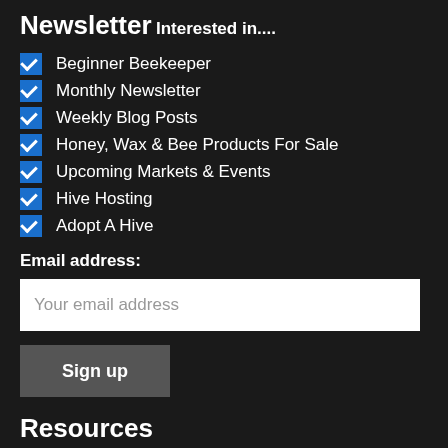Newsletter
Interested in....
Beginner Beekeeper
Monthly Newsletter
Weekly Blog Posts
Honey, Wax & Bee Products For Sale
Upcoming Markets & Events
Hive Hosting
Adopt A Hive
Email address:
Your email address
Sign up
Resources